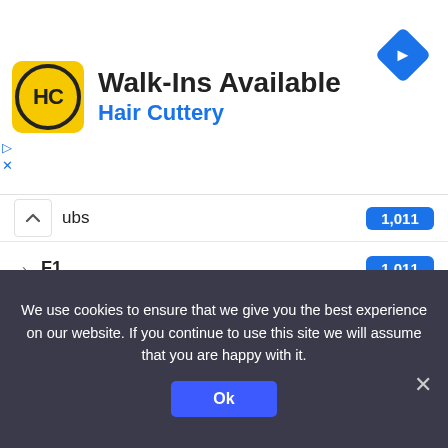[Figure (screenshot): Hair Cuttery ad banner with yellow logo showing HC initials, text 'Walk-Ins Available' and 'Hair Cuttery', blue navigation diamond icon top right, and small play/close icons bottom left]
ubs — 1,011
F1 — 1,011
RACING — 1,009
GOLF — 1,007
MMA — 994
NBA — 990
NFL — 988
FANTASY — 974
We use cookies to ensure that we give you the best experience on our website. If you continue to use this site we will assume that you are happy with it.